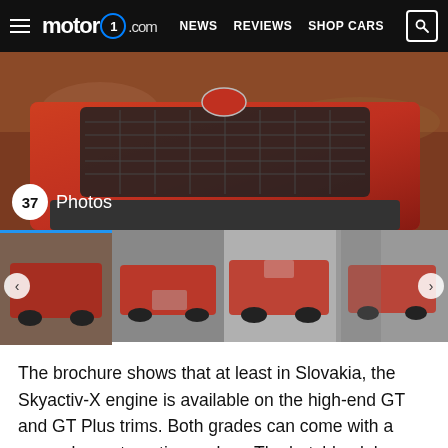motor1.com | NEWS  REVIEWS  SHOP CARS
[Figure (photo): Red Mazda 3 front view close-up, outdoor rocky terrain background, with photo count badge showing 37 Photos]
[Figure (photo): Thumbnail strip showing 4 photos of red Mazda 3 from various angles]
The brochure shows that at least in Slovakia, the Skyactiv-X engine is available on the high-end GT and GT Plus trims. Both grades can come with a manual or automatic gearbox. The hatchback has front- or all-wheel-variants, but the sedan is front-drive only.
More Mazda Musings:
[Figure (photo): Two small thumbnail images at the bottom of the page]